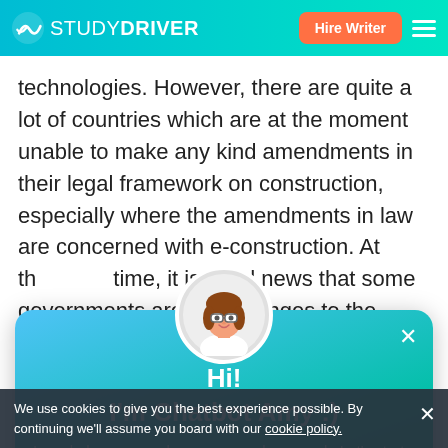STUDYDRIVER | Hire Writer
technologies. However, there are quite a lot of countries which are at the moment unable to make any kind amendments in their legal framework on construction, especially where the amendments in law are concerned with e-construction. At the same time, it is good news that some governments are making changes to the construction law encouraging countries to make a
[Figure (screenshot): Chatbot popup with avatar of a woman with glasses and brown hair. Header: Hi! I'm Chatbot Amy :). Body: I can help you save hours on your homework. Let's start by finding a writer. Button: Find Writer]
uncertainty may arise regarding the formation of law on electronic contract (Burin, 2009). This information
We use cookies to give you the best experience possible. By continuing we'll assume you board with our cookie policy.